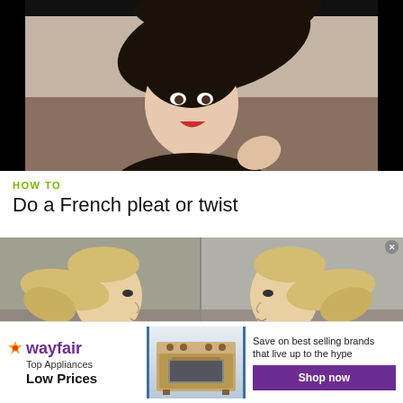[Figure (screenshot): Video thumbnail showing a woman with dark flowing hair tossing her head, wearing a black top, against a beige/brown background. Black bars on left and right sides.]
HOW TO
Do a French pleat or twist
[Figure (screenshot): Two side-by-side video thumbnails showing a blonde woman with a ponytail hairstyle, viewed from the side, demonstrating a hairstyle tutorial.]
[Figure (screenshot): Wayfair advertisement banner: 'Top Appliances Low Prices' with an image of a stove/range appliance, and text 'Save on best selling brands that live up to the hype' with a purple 'Shop now' button.]